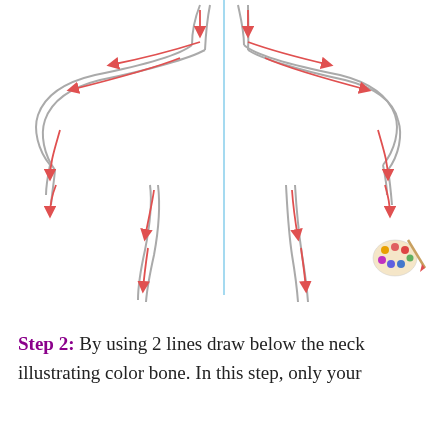[Figure (illustration): Step-by-step drawing instruction showing a human upper torso outline (shoulders, neck, upper arms) split by a vertical blue center line. Red arrows indicate the direction to draw 2 curved lines below the neck area representing collar bones, shown on both left and right sides mirror-imaged. A paint palette and brush icon appears in the bottom-right corner of the illustration area.]
Step 2: By using 2 lines draw below the neck illustrating color bone. In this step, only your